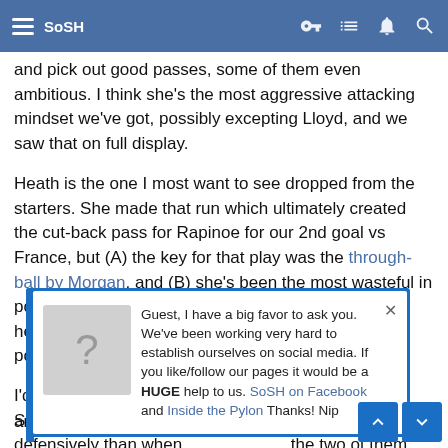SoSH (navigation bar with hamburger menu and icons)
and pick out good passes, some of them even ambitious. I think she's the most aggressive attacking mindset we've got, possibly excepting Lloyd, and we saw that on full display.
Heath is the one I most want to see dropped from the starters. She made that run which ultimately created the cut-back pass for Rapinoe for our 2nd goal vs France, but (A) the key for that play was the through-ball by Morgan, and (B) she's been the most wasteful in possession, creating almost no quality chances for herself or others despite using a whole lot of possessions.
I'd like to see Ertz dropped back to CB alongside Sauerbrunn - I've never felt more comfortable defensively than when the two of them pl... s not going to h... what I'm hoping fo... Mewis and Lavelle. If... ce, and have her pl... England isn't as s... er in central d... there fo... os... and breakaways rather than Lloyd's passing and midrange shooting.
Guest, I have a big favor to ask you. We've been working very hard to establish ourselves on social media. If you like/follow our pages it would be a HUGE help to us. SoSH on Facebook and Inside the Pylon Thanks! Nip